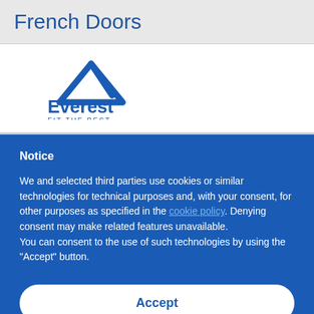French Doors
[Figure (logo): Everest FIT THE BEST logo with mountain peak icon in blue]
Notice
We and selected third parties use cookies or similar technologies for technical purposes and, with your consent, for other purposes as specified in the cookie policy. Denying consent may make related features unavailable.
You can consent to the use of such technologies by using the "Accept" button.
Accept
Learn more and customize